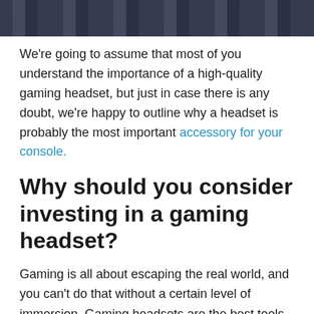[Figure (photo): Partial view of a person wearing a blue plaid/checkered shirt, cropped at the top of the page]
We're going to assume that most of you understand the importance of a high-quality gaming headset, but just in case there is any doubt, we're happy to outline why a headset is probably the most important accessory for your console.
Why should you consider investing in a gaming headset?
Gaming is all about escaping the real world, and you can't do that without a certain level of immersion. Gaming headsets are the best tools for immersing yourself in whatever game you're playing by blocking out background noise and producing accurate, detailed,